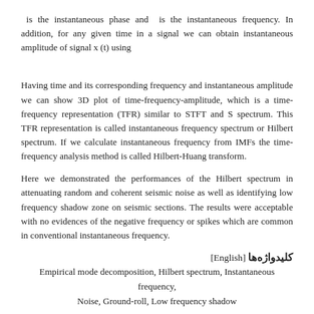is the instantaneous phase and  is the instantaneous frequency. In addition, for any given time in a signal we can obtain instantaneous amplitude of signal x (t) using
Having time and its corresponding frequency and instantaneous amplitude we can show 3D plot of time-frequency-amplitude, which is a time-frequency representation (TFR) similar to STFT and S spectrum. This TFR representation is called instantaneous frequency spectrum or Hilbert spectrum. If we calculate instantaneous frequency from IMFs the time-frequency analysis method is called Hilbert-Huang transform.
Here we demonstrated the performances of the Hilbert spectrum in attenuating random and coherent seismic noise as well as identifying low frequency shadow zone on seismic sections. The results were acceptable with no evidences of the negative frequency or spikes which are common in conventional instantaneous frequency.
كليدواژه‌ها [English]
Empirical mode decomposition, Hilbert spectrum, Instantaneous frequency, Noise, Ground-roll, Low frequency shadow
مراجع